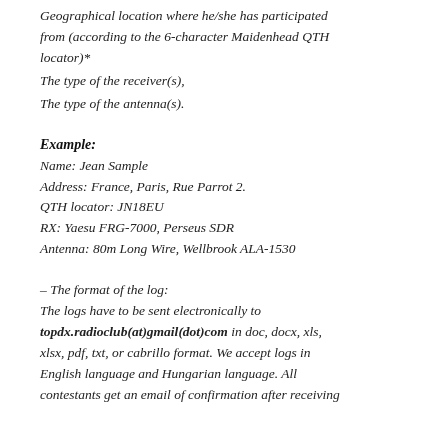Geographical location where he/she has participated from (according to the 6-character Maidenhead QTH locator)*
The type of the receiver(s),
The type of the antenna(s).
Example:
Name: Jean Sample
Address: France, Paris, Rue Parrot 2.
QTH locator: JN18EU
RX: Yaesu FRG-7000, Perseus SDR
Antenna: 80m Long Wire, Wellbrook ALA-1530
– The format of the log:
The logs have to be sent electronically to topdx.radioclub(at)gmail(dot)com in doc, docx, xls, xlsx, pdf, txt, or cabrillo format. We accept logs in English language and Hungarian language. All contestants get an email of confirmation after receiving